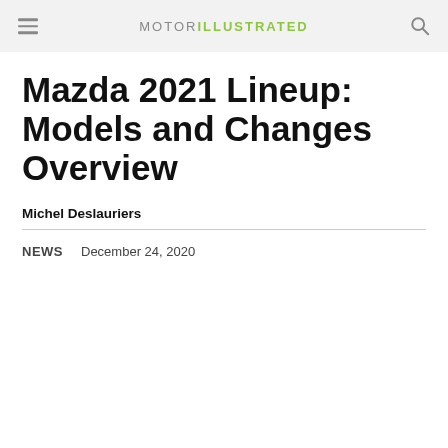MOTOR ILLUSTRATED
Mazda 2021 Lineup: Models and Changes Overview
Michel Deslauriers
NEWS   December 24, 2020